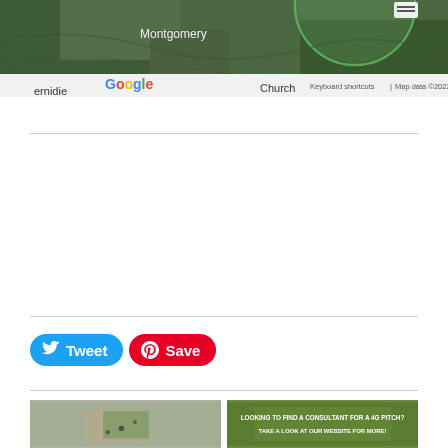[Figure (screenshot): Google Maps satellite view showing Montgomery area with green circle overlay. Bottom bar shows Google logo, Keyboard shortcuts, Map data ©2022, Terms of Use.]
[Figure (screenshot): Two social media buttons: a blue Twitter Tweet button and a red Pinterest Save button.]
[Figure (photo): Satellite/aerial image thumbnail of a green sports pitch area.]
[Figure (photo): Dark green promotional banner reading: LOOKING TO FIND A CONSULTANT FOR A 4G PITCH? TAKE A LOOK AT OUR WEBSITE FOR MORE!]